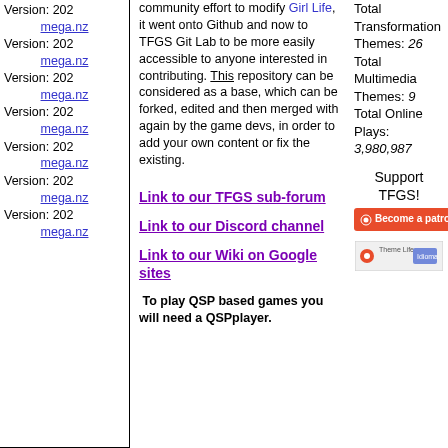Version: 202
mega.nz
Version: 202
mega.nz
Version: 202
mega.nz
Version: 202
mega.nz
Version: 202
mega.nz
Version: 202
mega.nz
Version: 202
mega.nz
community effort to modify Girl Life, it went onto Github and now to TFGS Git Lab to be more easily accessible to anyone interested in contributing. This repository can be considered as a base, which can be forked, edited and then merged with again by the game devs, in order to add your own content or fix the existing.
Link to our TFGS sub-forum
Link to our Discord channel
Link to our Wiki on Google sites
To play QSP based games you will need a QSPplayer.
Total Transformation Themes: 26
Total Multimedia Themes: 9
Total Online Plays: 3,980,987
Support TFGS!
[Figure (other): Become a patron button (Patreon)]
[Figure (other): Discord/social banner button]